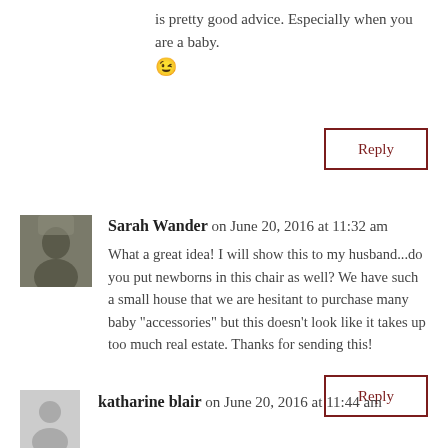is pretty good advice. Especially when you are a baby. 😉
Reply
Sarah Wander on June 20, 2016 at 11:32 am
What a great idea! I will show this to my husband...do you put newborns in this chair as well? We have such a small house that we are hesitant to purchase many baby "accessories" but this doesn't look like it takes up too much real estate. Thanks for sending this!
Reply
katharine blair on June 20, 2016 at 11:44 am